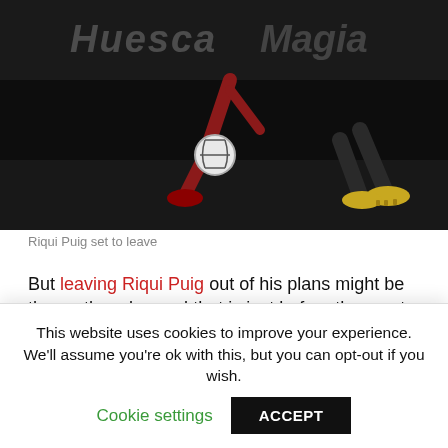[Figure (photo): Soccer/football action photo showing players' legs and a ball on a dark stadium pitch. Text 'Huesca Magia' visible in stadium backdrop.]
Riqui Puig set to leave
But leaving Riqui Puig out of his plans might be the earthquake, and that is just before the empty Joan Gamper trophy. It all started with Koeman leaving out Riqui Puig out of the squad list, to claims by Moises Llorens (ESPN correspondent) that the Catalan star could be sold. Transfer market decisions haven't been successful for Barcelona just yet. Vidal and Suarez haven't left. Semedo's future is
This website uses cookies to improve your experience. We'll assume you're ok with this, but you can opt-out if you wish.
Cookie settings  ACCEPT